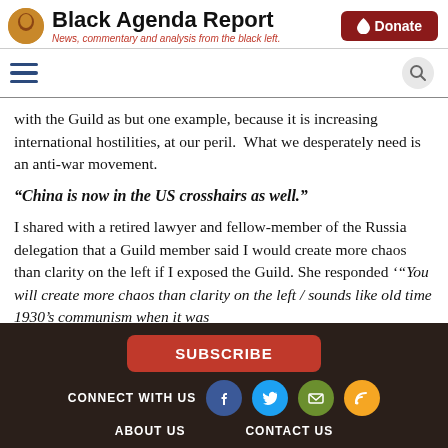Black Agenda Report — News, commentary and analysis from the black left.
with the Guild as but one example, because it is increasing international hostilities, at our peril.  What we desperately need is an anti-war movement.
“China is now in the US crosshairs as well.”
I shared with a retired lawyer and fellow-member of the Russia delegation that a Guild member said I would create more chaos than clarity on the left if I exposed the Guild. She responded ‘“You will create more chaos than clarity on the left / sounds like old time 1930’s communism when it was
SUBSCRIBE | CONNECT WITH US | ABOUT US | CONTACT US